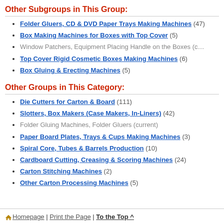Other Subgroups in This Group:
Folder Gluers, CD & DVD Paper Trays Making Machines (47)
Box Making Machines for Boxes with Top Cover (5)
Window Patchers, Equipment Placing Handle on the Boxes (c…
Top Cover Rigid Cosmetic Boxes Making Machines (6)
Box Gluing & Erecting Machines (5)
Other Groups in This Category:
Die Cutters for Carton & Board (111)
Slotters, Box Makers (Case Makers, In-Liners) (42)
Folder Gluing Machines, Folder Gluers (current)
Paper Board Plates, Trays & Cups Making Machines (3)
Spiral Core, Tubes & Barrels Production (10)
Cardboard Cutting, Creasing & Scoring Machines (24)
Carton Stitching Machines (2)
Other Carton Processing Machines (5)
Homepage | Print the Page | To the Top ^